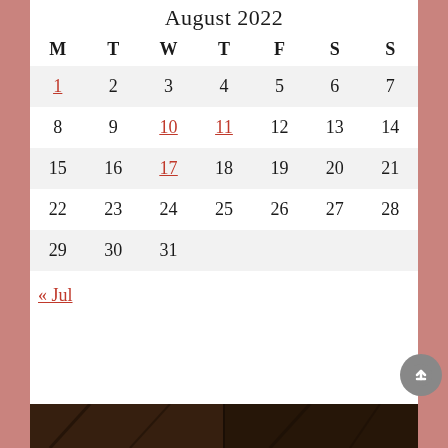August 2022
| M | T | W | T | F | S | S |
| --- | --- | --- | --- | --- | --- | --- |
| 1 | 2 | 3 | 4 | 5 | 6 | 7 |
| 8 | 9 | 10 | 11 | 12 | 13 | 14 |
| 15 | 16 | 17 | 18 | 19 | 20 | 21 |
| 22 | 23 | 24 | 25 | 26 | 27 | 28 |
| 29 | 30 | 31 |  |  |  |  |
« Jul
[Figure (photo): Dark wooden background photo at the bottom of the page]